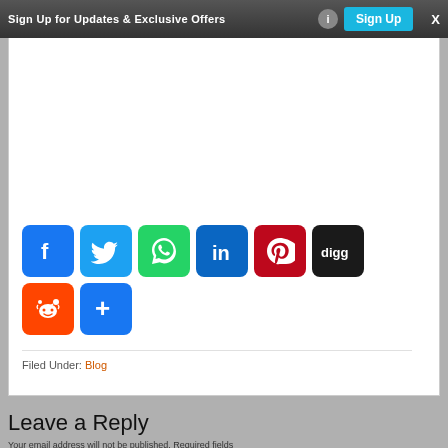Sign Up for Updates & Exclusive Offers  Sign Up  X
[Figure (infographic): Social media sharing buttons: Facebook, Twitter, WhatsApp, LinkedIn, Pinterest, Digg, Reddit, and a More (+) button]
Filed Under: Blog
Leave a Reply
Your email address will not be published. Required fields